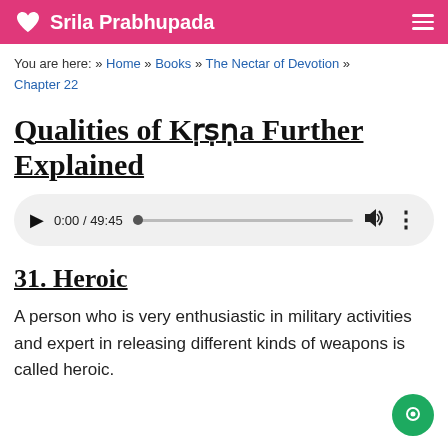Srila Prabhupada
You are here: » Home » Books » The Nectar of Devotion » Chapter 22
Qualities of Kṛṣṇa Further Explained
[Figure (other): Audio player showing 0:00 / 49:45 with play button, progress bar, volume and more icons]
31. Heroic
A person who is very enthusiastic in military activities and expert in releasing different kinds of weapons is called heroic.